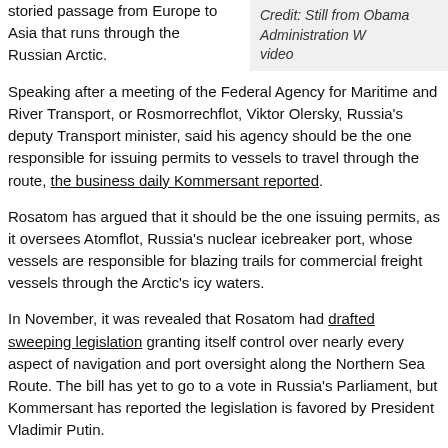storied passage from Europe to Asia that runs through the Russian Arctic.
Credit: Still from Obama Administration White House video
Speaking after a meeting of the Federal Agency for Maritime and River Transport, or Rosmorrechflot, Viktor Olersky, Russia's deputy Transport minister, said his agency should be the one responsible for issuing permits to vessels to travel through the route, the business daily Kommersant reported.
Rosatom has argued that it should be the one issuing permits, as it oversees Atomflot, Russia's nuclear icebreaker port, whose vessels are responsible for blazing trails for commercial freight vessels through the Arctic's icy waters.
In November, it was revealed that Rosatom had drafted sweeping legislation granting itself control over nearly every aspect of navigation and port oversight along the Northern Sea Route. The bill has yet to go to a vote in Russia's Parliament, but Kommersant has reported the legislation is favored by President Vladimir Putin.
But the bill also leaves several things unresolved, including which part of the government would be responsible for issuing permits to